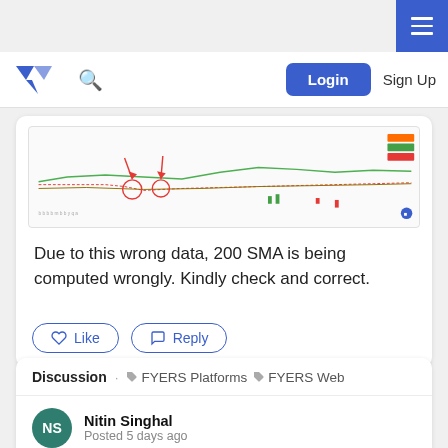Hamburger menu button (top right)
FYERS logo | Search | Login | Sign Up
[Figure (screenshot): A financial chart screenshot showing price lines, SMA lines, and annotations with red circles and arrows pointing to anomalies in the 200 SMA area.]
Due to this wrong data, 200 SMA is being computed wrongly. Kindly check and correct.
Like
Reply
Discussion · FYERS Platforms · FYERS Web
Nitin Singhal
Posted 5 days ago